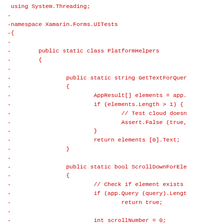[Figure (screenshot): Code diff screenshot showing deleted lines (prefixed with '-') in red monospace font. C# code for Xamarin.Forms.UITests namespace with PlatformHelpers class containing GetTextForQuery and ScrollDownForElement methods.]